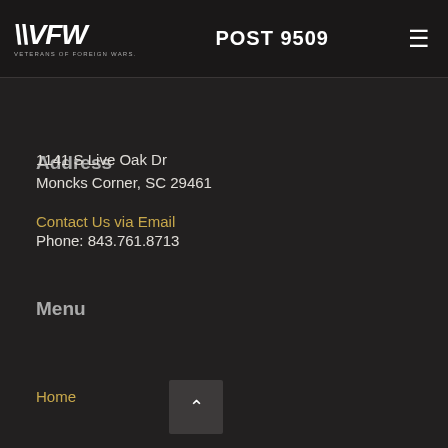VFW VETERANS OF FOREIGN WARS. POST 9509
Address
1141 S Live Oak Dr
Moncks Corner, SC 29461
Contact Us via Email
Phone: 843.761.8713
Menu
Home